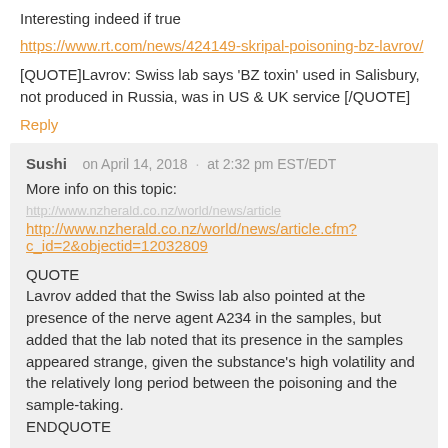Interesting indeed if true
https://www.rt.com/news/424149-skripal-poisoning-bz-lavrov/
[QUOTE]Lavrov: Swiss lab says ‘BZ toxin’ used in Salisbury, not produced in Russia, was in US & UK service [/QUOTE]
Reply
Sushi   on April 14, 2018  ·  at 2:32 pm EST/EDT
More info on this topic:
http://www.nzherald.co.nz/world/news/article.cfm?c_id=2&objectid=12032809
QUOTE
Lavrov added that the Swiss lab also pointed at the presence of the nerve agent A234 in the samples, but added that the lab noted that its presence in the samples appeared strange, given the substance’s high volatility and the relatively long period between the poisoning and the sample-taking.
ENDQUOTE